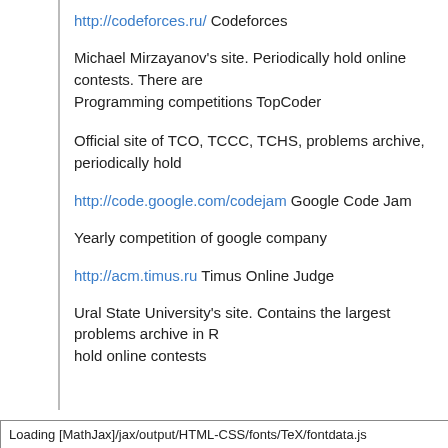http://codeforces.ru/ Codeforces
Michael Mirzayanov's site. Periodically hold online contests. There are Programming competitions TopCoder
Official site of TCO, TCCC, TCHS, problems archive, periodically hold
http://code.google.com/codejam Google Code Jam
Yearly competition of google company
http://acm.timus.ru Timus Online Judge
Ural State University's site. Contains the largest problems archive in R hold online contests
Loading [MathJax]/jax/output/HTML-CSS/fonts/TeX/fontdata.js